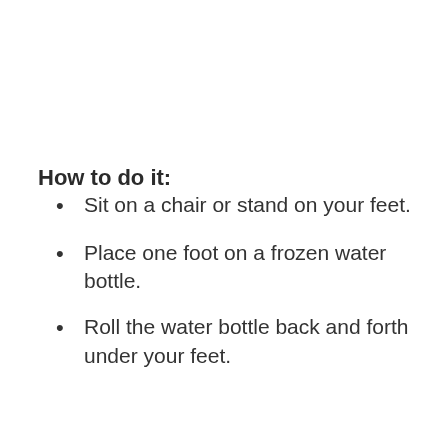How to do it:
Sit on a chair or stand on your feet.
Place one foot on a frozen water bottle.
Roll the water bottle back and forth under your feet.